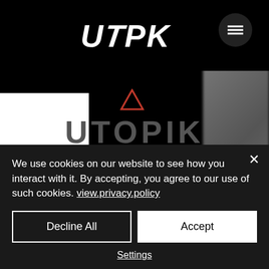[Figure (screenshot): UTPK website header with logo and hamburger menu on black background]
UTOPIK MANIFEST
UTÓPIKAESUNPROYECTOQ UTÓPIKAisaprojectthat UEPARTEDEUNACONSTANT SORIGINATEDBYACONSTAN
We use cookies on our website to see how you interact with it. By accepting, you agree to our use of such cookies. view.privacy.policy
Decline All
Accept
Settings